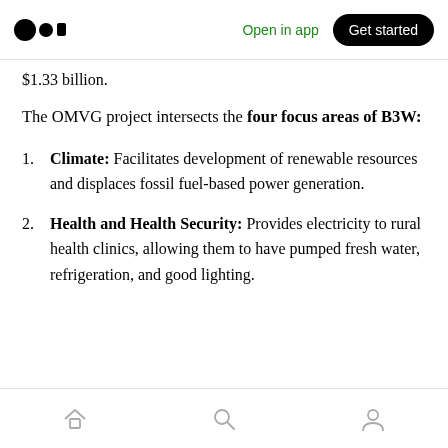Open in app | Get started
$1.33 billion.
The OMVG project intersects the four focus areas of B3W:
1. Climate: Facilitates development of renewable resources and displaces fossil fuel-based power generation.
2. Health and Health Security: Provides electricity to rural health clinics, allowing them to have pumped fresh water, refrigeration, and good lighting.
Home | Search | Profile